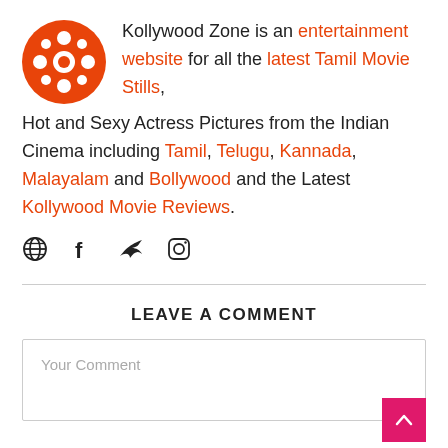[Figure (logo): Orange circular film reel logo with white circles and holes]
Kollywood Zone is an entertainment website for all the latest Tamil Movie Stills, Hot and Sexy Actress Pictures from the Indian Cinema including Tamil, Telugu, Kannada, Malayalam and Bollywood and the Latest Kollywood Movie Reviews.
[Figure (infographic): Social media icons: globe/website, Facebook, Twitter, Instagram]
LEAVE A COMMENT
Your Comment